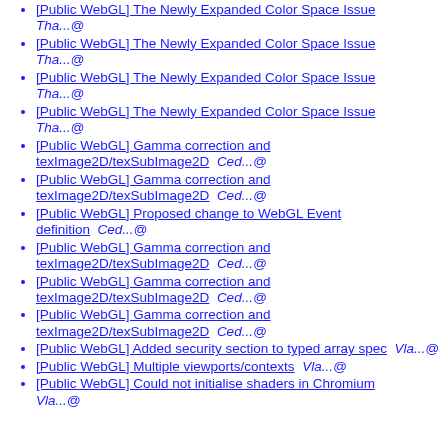[Public WebGL] The Newly Expanded Color Space Issue  Tha...@
[Public WebGL] The Newly Expanded Color Space Issue  Tha...@
[Public WebGL] The Newly Expanded Color Space Issue  Tha...@
[Public WebGL] The Newly Expanded Color Space Issue  Tha...@
[Public WebGL] Gamma correction and texImage2D/texSubImage2D  Ced...@
[Public WebGL] Gamma correction and texImage2D/texSubImage2D  Ced...@
[Public WebGL] Proposed change to WebGL Event definition  Ced...@
[Public WebGL] Gamma correction and texImage2D/texSubImage2D  Ced...@
[Public WebGL] Gamma correction and texImage2D/texSubImage2D  Ced...@
[Public WebGL] Gamma correction and texImage2D/texSubImage2D  Ced...@
[Public WebGL] Added security section to typed array spec  Vla...@
[Public WebGL] Multiple viewports/contexts  Vla...@
[Public WebGL] Could not initialise shaders in Chromium  Vla...@